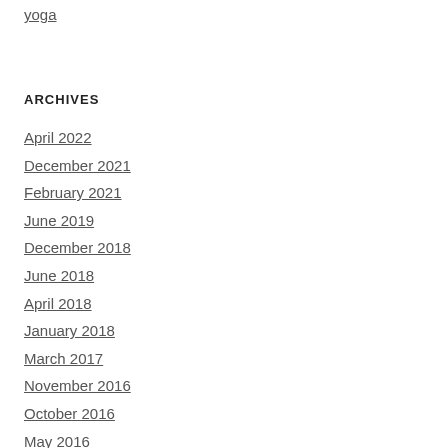yoga
ARCHIVES
April 2022
December 2021
February 2021
June 2019
December 2018
June 2018
April 2018
January 2018
March 2017
November 2016
October 2016
May 2016
April 2016